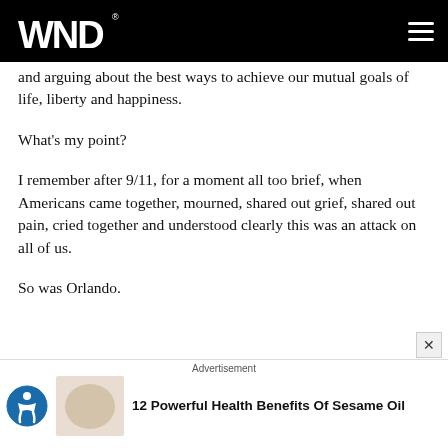WND
and arguing about the best ways to achieve our mutual goals of life, liberty and happiness.
What's my point?
I remember after 9/11, for a moment all too brief, when Americans came together, mourned, shared out grief, shared out pain, cried together and understood clearly this was an attack on all of us.
So was Orlando.
Advertisement
12 Powerful Health Benefits Of Sesame Oil